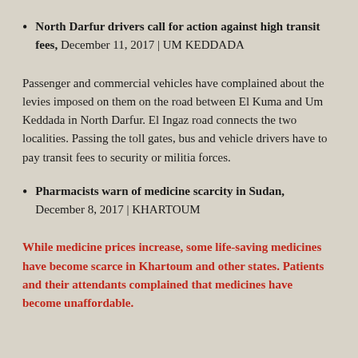North Darfur drivers call for action against high transit fees, December 11, 2017 | UM KEDDADA
Passenger and commercial vehicles have complained about the levies imposed on them on the road between El Kuma and Um Keddada in North Darfur. El Ingaz road connects the two localities. Passing the toll gates, bus and vehicle drivers have to pay transit fees to security or militia forces.
Pharmacists warn of medicine scarcity in Sudan, December 8, 2017 | KHARTOUM
While medicine prices increase, some life-saving medicines have become scarce in Khartoum and other states. Patients and their attendants complained that medicines have become unaffordable.